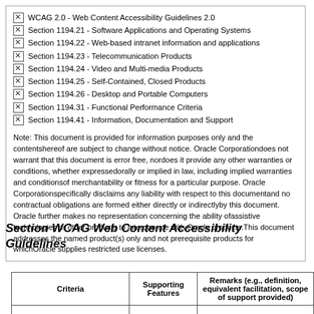WCAG 2.0 - Web Content Accessibility Guidelines 2.0
Section 1194.21 - Software Applications and Operating Systems
Section 1194.22 - Web-based intranet information and applications
Section 1194.23 - Telecommunication Products
Section 1194.24 - Video and Multi-media Products
Section 1194.25 - Self-Contained, Closed Products
Section 1194.26 - Desktop and Portable Computers
Section 1194.31 - Functional Performance Criteria
Section 1194.41 - Information, Documentation and Support
Note: This document is provided for information purposes only and the contentshereof are subject to change without notice. Oracle Corporationdoes not warrant that this document is error free, nordoes it provide any other warranties or conditions, whether expressedorally or implied in law, including implied warranties and conditionsof merchantability or fitness for a particular purpose. Oracle Corporationspecifically disclaims any liability with respect to this documentand no contractual obligations are formed either directly or indirectlyby this document. Oracle further makes no representation concerning the ability ofassistive technologies or other products to interoperate with Oracle products.This document addresses the named product(s) only and not prerequisite products for whichOracle supplies restricted use licenses.
Section WCAG Web Content Accessibility Guidelines
| Criteria | Supporting Features | Remarks (e.g., definition, equivalent facilitation, scope of support provided) |
| --- | --- | --- |